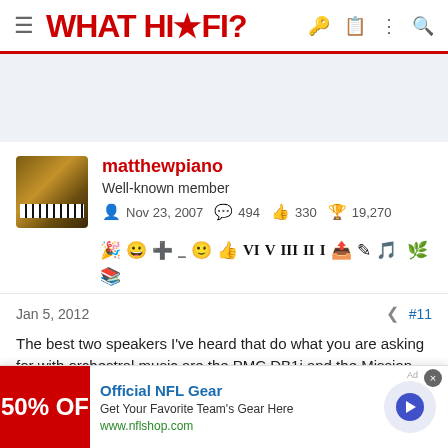WHAT HI·FI?
[Figure (other): Gray advertisement banner area placeholder]
matthewpiano
Well-known member
Nov 23, 2007  494  330  19,270
[Figure (other): User badges/achievement icons row]
Jan 5, 2012  #11
The best two speakers I've heard that do what you are asking for with orchestral music are the PMC DB1i and the Mission 751. The PMC
[Figure (other): Advertisement overlay: Official NFL Gear - Get Your Favorite Team's Gear Here - www.nflshop.com, 50% OFF banner]